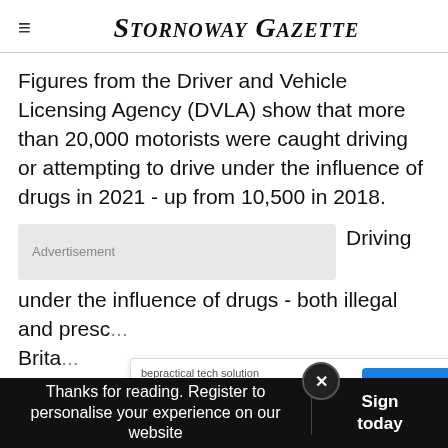Stornoway Gazette
Figures from the Driver and Vehicle Licensing Agency (DVLA) show that more than 20,000 motorists were caught driving or attempting to drive under the influence of drugs in 2021 - up from 10,500 in 2018.
Driving under the influence of drugs - both illegal and presc... Brita...
bepractical tech solution — Job guaranteed courses — VISIT SITE
Thanks for reading. Register to personalise your experience on our website